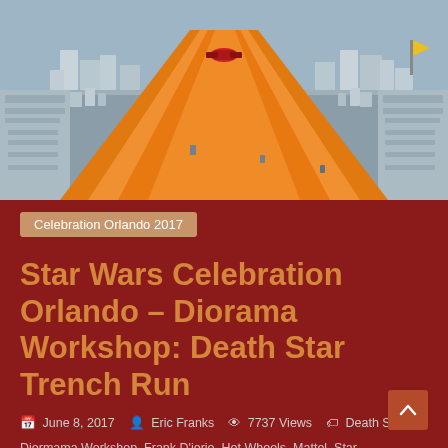[Figure (photo): Aerial/top-down CGI render of the Death Star trench run scene with an orange Hot Wheels track running through a grey cityscape/trench diorama]
Celebration Orlando 2017
Star Wars Celebration Orlando – Diorama Workshop: Death Star Trench Run
June 8, 2017  Eric Franks  7737 Views  Death Star, Diormama Workshop, Frank D'iorio, Hot Wheels, Mattel, Star Wars Celebration Orlando 2017
Even though it's been over a month since Star Wars Celebration Orlando wrapped up, we had one final